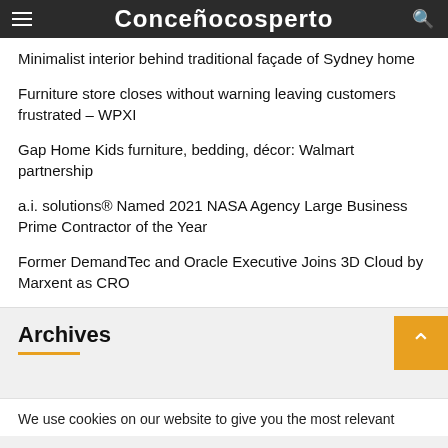Conceñocosperto
Minimalist interior behind traditional façade of Sydney home
Furniture store closes without warning leaving customers frustrated – WPXI
Gap Home Kids furniture, bedding, décor: Walmart partnership
a.i. solutions® Named 2021 NASA Agency Large Business Prime Contractor of the Year
Former DemandTec and Oracle Executive Joins 3D Cloud by Marxent as CRO
Archives
We use cookies on our website to give you the most relevant